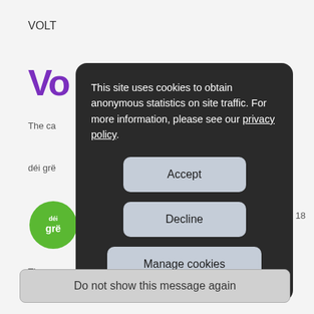VOLT
Vo
The ca
déi grë
[Figure (logo): déi gréng logo - green leaf with text 'déi grë']
The ca
18
By cont cookies experie
This site uses cookies to obtain anonymous statistics on site traffic. For more information, please see our privacy policy.
Accept
Decline
Manage cookies
Do not show this message again